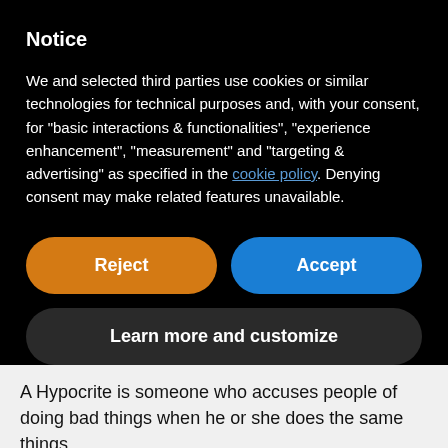Notice
We and selected third parties use cookies or similar technologies for technical purposes and, with your consent, for “basic interactions & functionalities”, “experience enhancement”, “measurement” and “targeting & advertising” as specified in the cookie policy. Denying consent may make related features unavailable.
[Figure (screenshot): Reject button (orange pill-shaped) and Accept button (blue pill-shaped) side by side]
[Figure (screenshot): Learn more and customize button (dark gray pill-shaped)]
A Hypocrite is someone who accuses people of doing bad things when he or she does the same things.
children recognize hypocrisy.
And Jesus continuted hypocrites so often that the